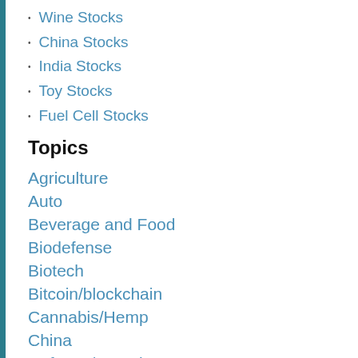Wine Stocks
China Stocks
India Stocks
Toy Stocks
Fuel Cell Stocks
Topics
Agriculture
Auto
Beverage and Food
Biodefense
Biotech
Bitcoin/blockchain
Cannabis/Hemp
China
Defense/Security
Energy/Oil
Fuel Cell
Gaming/Online Gambling
Gold/Mining
Homebuilding/Real Estate